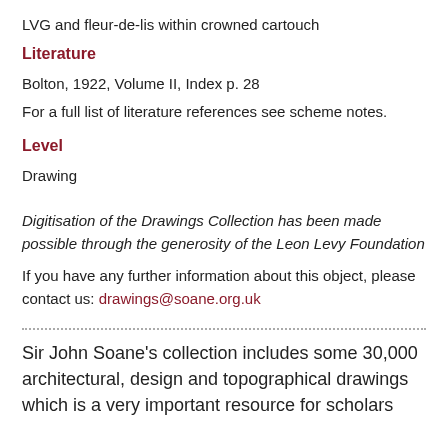LVG and fleur-de-lis within crowned cartouch
Literature
Bolton, 1922, Volume II, Index p. 28
For a full list of literature references see scheme notes.
Level
Drawing
Digitisation of the Drawings Collection has been made possible through the generosity of the Leon Levy Foundation
If you have any further information about this object, please contact us: drawings@soane.org.uk
Sir John Soane's collection includes some 30,000 architectural, design and topographical drawings which is a very important resource for scholars